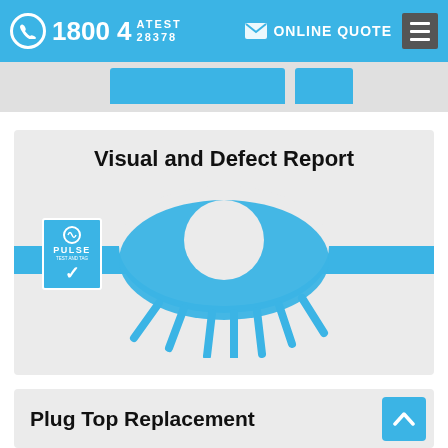1800 4 ATEST 28378  ONLINE QUOTE
[Figure (illustration): Visual and Defect Report card with eye icon graphic, horizontal blue stripe, and PULSE badge]
Visual and Defect Report
Plug Top Replacement